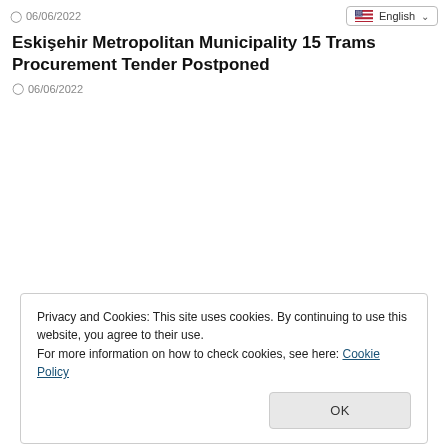06/06/2022
Eskişehir Metropolitan Municipality 15 Trams Procurement Tender Postponed
06/06/2022
Privacy and Cookies: This site uses cookies. By continuing to use this website, you agree to their use.
For more information on how to check cookies, see here: Cookie Policy